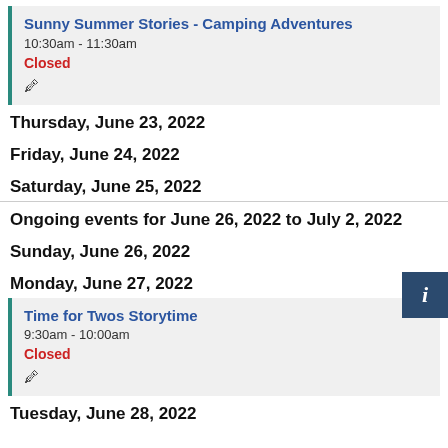Sunny Summer Stories - Camping Adventures
10:30am - 11:30am
Closed
Thursday, June 23, 2022
Friday, June 24, 2022
Saturday, June 25, 2022
Ongoing events for June 26, 2022 to July 2, 2022
Sunday, June 26, 2022
Monday, June 27, 2022
Time for Twos Storytime
9:30am - 10:00am
Closed
Tuesday, June 28, 2022